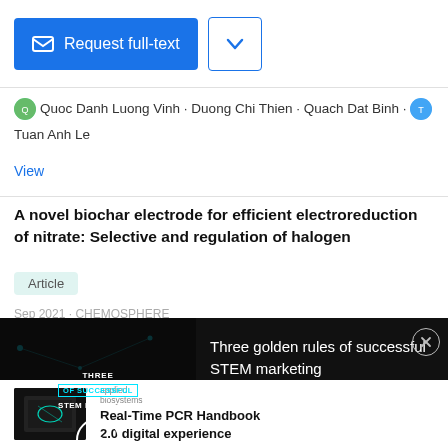[Figure (screenshot): Request full-text button (blue) and dropdown chevron button (outlined)]
Quoc Danh Luong Vinh · Duong Chi Thien · Quach Dat Binh · Tuan Anh Le
View
A novel biochar electrode for efficient electroreduction of nitrate: Selective and regulation of halogen
Article
Sep 2021 · CHEMOSPHERE
[Figure (screenshot): Video overlay with dark background showing 'Three golden rules of successful STEM marketing' promotional video thumbnail with play button and close button]
[Figure (screenshot): Applied Biosystems ad thumbnail showing laptop with DNA graphic]
Real-Time PCR Handbook
2.0 digital experience